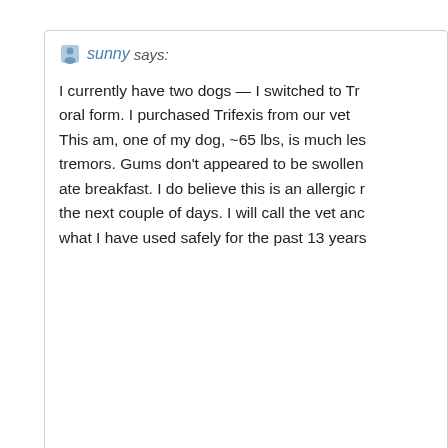sunny says:
I currently have two dogs — I switched to Tr oral form. I purchased Trifexis from our vet This am, one of my dog, ~65 lbs, is much les tremors. Gums don't appeared to be swollen ate breakfast. I do believe this is an allergic r the next couple of days. I will call the vet anc what I have used safely for the past 13 years
Decem
sunny says:
And I forgot to mention that our ~ 65 lb dog a rescue mixed breed — hound, lab, boxer ~ Hopefully he will be better soon. Our other r fine. Nonetheless, I won't be giving either o